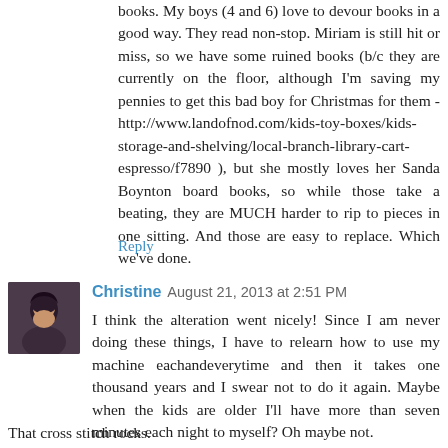books. My boys (4 and 6) love to devour books in a good way. They read non-stop. Miriam is still hit or miss, so we have some ruined books (b/c they are currently on the floor, although I'm saving my pennies to get this bad boy for Christmas for them - http://www.landofnod.com/kids-toy-boxes/kids-storage-and-shelving/local-branch-library-cart-espresso/f7890 ), but she mostly loves her Sanda Boynton board books, so while those take a beating, they are MUCH harder to rip to pieces in one sitting. And those are easy to replace. Which we've done.
Reply
[Figure (photo): Avatar/profile photo of Christine - woman with dark hair]
Christine  August 21, 2013 at 2:51 PM
I think the alteration went nicely! Since I am never doing these things, I have to relearn how to use my machine eachandeverytime and then it takes one thousand years and I swear not to do it again. Maybe when the kids are older I'll have more than seven minutes each night to myself? Oh maybe not.
That cross stitch rocks.